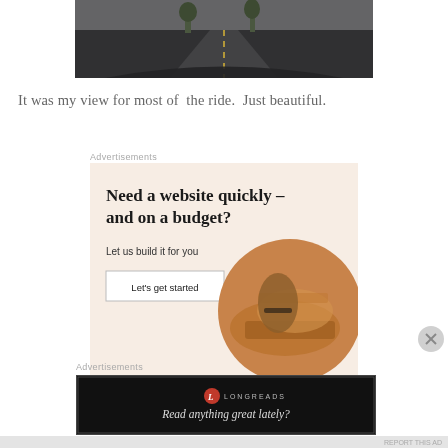[Figure (photo): View from inside a car looking out through the windshield at a road with yellow lines, trees in background]
It was my view for most of the ride.  Just beautiful.
Advertisements
[Figure (infographic): Advertisement with beige background: 'Need a website quickly – and on a budget? Let us build it for you' with a 'Let's get started' button and a circular photo of hands on a laptop]
Advertisements
[Figure (infographic): Longreads advertisement with black background showing the Longreads logo and tagline 'Read anything great lately?']